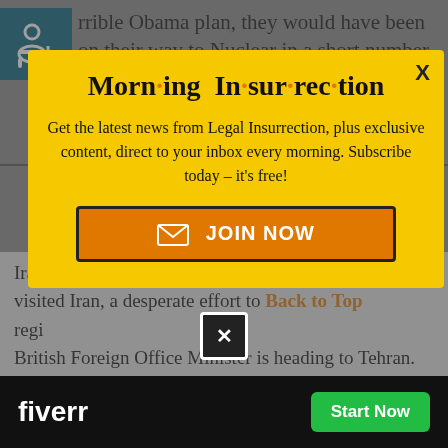rrible Obama plan, they would have been on their way to Nuclear in a short number of years, and existing verification is not acceptable. We are putting major additional
[Figure (infographic): Morning Insurrection newsletter popup overlay with yellow background, bold title 'Morn·ing In·sur·rec·tion', subscription text, and orange JOIN NOW button]
Iran. Two weeks after German Foreign Minister visited Iran, a desperate effort to keep the regime... British Foreign Office Minister is heading to Tehran.
[Figure (infographic): Fiverr advertisement bar at bottom with dark background, Fiverr logo in white, X close button, and green Start Now button]